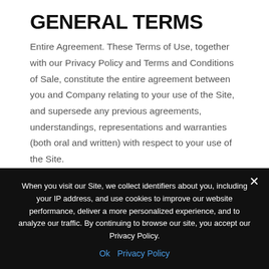GENERAL TERMS
Entire Agreement. These Terms of Use, together with our Privacy Policy and Terms and Conditions of Sale, constitute the entire agreement between you and Company relating to your use of the Site, and supersede any previous agreements, understandings, representations and warranties (both oral and written) with respect to your use of the Site.
Authority to be Bound. If you are an entity, organization, or company, the individual
When you visit our Site, we collect identifiers about you, including your IP address, and use cookies to improve our website performance, deliver a more personalized experience, and to analyze our traffic. By continuing to browse our site, you accept our Privacy Policy.
Ok   Privacy Policy